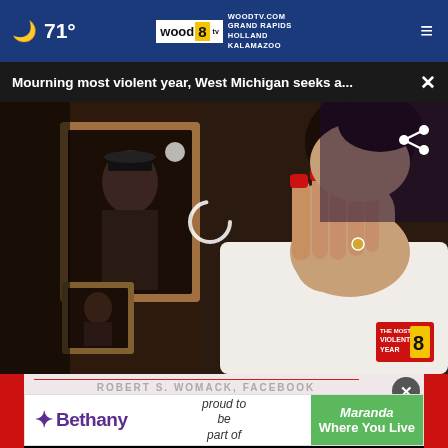🌙 71° — WOODTV.COM GRAND RAPIDS HOLLAND KALAMAZOO  ≡
Mourning most violent year, West Michigan seeks a...  ×
[Figure (photo): A woman in a white shirt with red nails covers her face while crying, seated in front of framed photos on a wall. A WOOD TV8 'The Most Violent Year' bug is visible in the lower right. A loading spinner and share icon overlay the photo.]
ROBERT S. WOMACK, FACEBOOK
[Figure (logo): Bethany Christian Services advertisement: 'proud to be part of Maranda Where You Live']